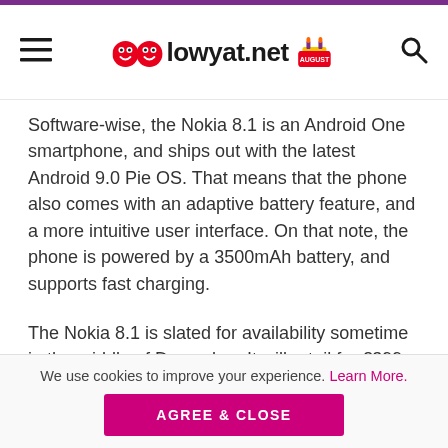lowyat.net
Software-wise, the Nokia 8.1 is an Android One smartphone, and ships out with the latest Android 9.0 Pie OS. That means that the phone also comes with an adaptive battery feature, and a more intuitive user interface. On that note, the phone is powered by a 3500mAh battery, and supports fast charging.
The Nokia 8.1 is slated for availability sometime in the middle of December. It will retail for €399 (~RM1885), and
We use cookies to improve your experience. Learn More. AGREE & CLOSE